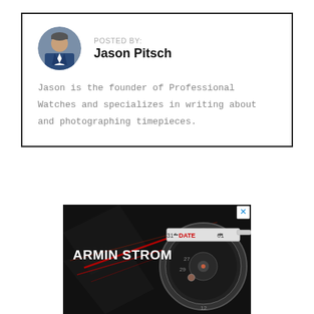POSTED BY:
Jason Pitsch
[Figure (photo): Circular avatar photo of Jason Pitsch, a man in a blue jacket]
Jason is the founder of Professional Watches and specializes in writing about and photographing timepieces.
[Figure (photo): Advertisement for Armin Strom watches showing a dark background with red light rays and a close-up of a watch movement with DATE complication visible]